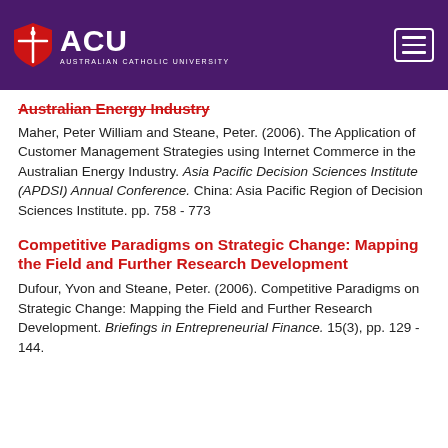ACU - Australian Catholic University
Australian Energy Industry
Maher, Peter William and Steane, Peter. (2006). The Application of Customer Management Strategies using Internet Commerce in the Australian Energy Industry. Asia Pacific Decision Sciences Institute (APDSI) Annual Conference. China: Asia Pacific Region of Decision Sciences Institute. pp. 758 - 773
Competitive Paradigms on Strategic Change: Mapping the Field and Further Research Development
Dufour, Yvon and Steane, Peter. (2006). Competitive Paradigms on Strategic Change: Mapping the Field and Further Research Development. Briefings in Entrepreneurial Finance. 15(3), pp. 129 - 144.